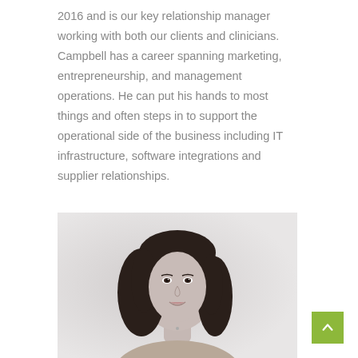2016 and is our key relationship manager working with both our clients and clinicians. Campbell has a career spanning marketing, entrepreneurship, and management operations. He can put his hands to most things and often steps in to support the operational side of the business including IT infrastructure, software integrations and supplier relationships.
[Figure (photo): Black and white professional headshot of a woman with dark shoulder-length hair, smiling, wearing a light-colored top]